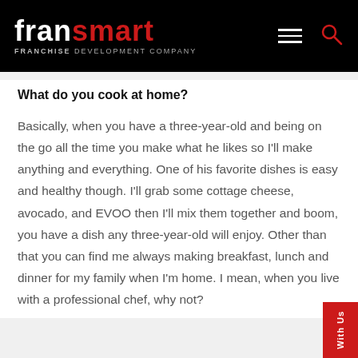FranSmart — Franchise Development Company
What do you cook at home?
Basically, when you have a three-year-old and being on the go all the time you make what he likes so I'll make anything and everything. One of his favorite dishes is easy and healthy though. I'll grab some cottage cheese, avocado, and EVOO then I'll mix them together and boom, you have a dish any three-year-old will enjoy. Other than that you can find me always making breakfast, lunch and dinner for my family when I'm home. I mean, when you live with a professional chef, why not?